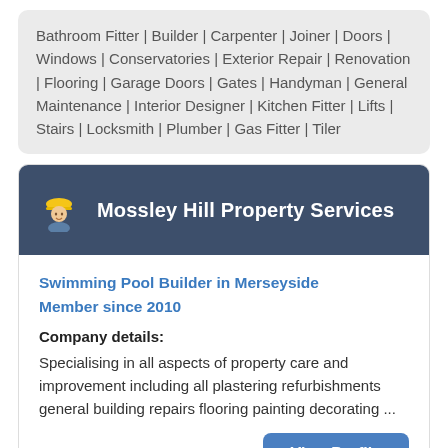Bathroom Fitter | Builder | Carpenter | Joiner | Doors | Windows | Conservatories | Exterior Repair | Renovation | Flooring | Garage Doors | Gates | Handyman | General Maintenance | Interior Designer | Kitchen Fitter | Lifts | Stairs | Locksmith | Plumber | Gas Fitter | Tiler
Mossley Hill Property Services
Swimming Pool Builder in Merseyside
Member since 2010
Company details:
Specialising in all aspects of property care and improvement including all plastering refurbishments general building repairs flooring painting decorating ...
View Profile